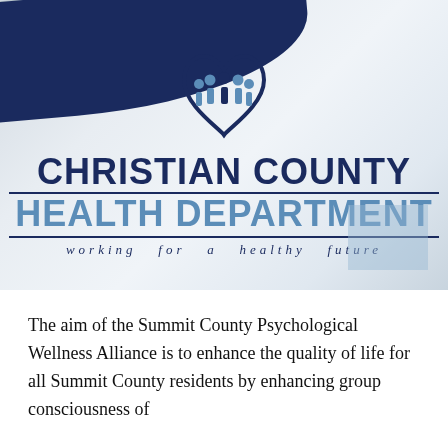[Figure (logo): Christian County Health Department logo with heart/people icon, organization name in dark navy and light blue, tagline 'working for a healthy future', on a gradient blue-gray background with navy diagonal band]
The aim of the Summit County Psychological Wellness Alliance is to enhance the quality of life for all Summit County residents by enhancing group consciousness of